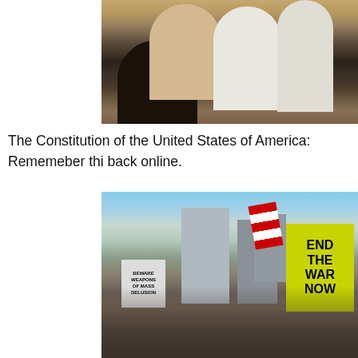[Figure (photo): Crowd of protesters at a rally, seen from behind, people holding signs and papers, close-up view]
The Constitution of the United States of America: Rememeber thi... back online.
[Figure (photo): Large protest march in city with people holding signs including 'END THE WAR NOW' (yellow sign) and 'BEWARE WEAPONS OF MASS DELUSION', with American flags and city buildings in background]